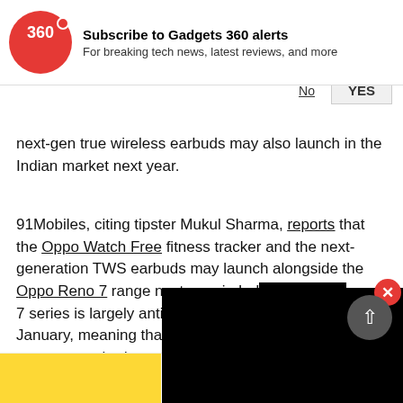[Figure (screenshot): Gadgets 360 notification subscription banner with red circular logo showing '360', title 'Subscribe to Gadgets 360 alerts', subtitle 'For breaking tech news, latest reviews, and more', and buttons 'No' and 'YES']
next-gen true wireless earbuds may also launch in the Indian market next year.
91Mobiles, citing tipster Mukul Sharma, reports that the Oppo Watch Free fitness tracker and the next-generation TWS earbuds may launch alongside the Oppo Reno 7 range next year in Ind[ia. The Reno] 7 series is largely anticipated to laun[ch in] January, meaning that the Oppo Wa[tch Free and] next-gen earbuds may also be unve[iled then].
Sponsored Links by Taboola
[Figure (photo): Black video/ad overlay covering right portion of article, with red close (X) button in top-right corner]
[Figure (screenshot): Yellow advertisement strip at the bottom of the page]